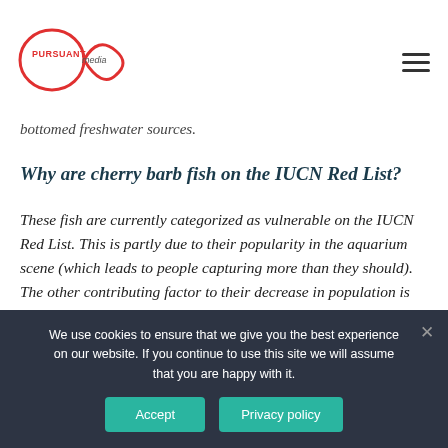Pursuant Media (logo) + navigation menu
bottomed freshwater sources.
Why are cherry barb fish on the IUCN Red List?
These fish are currently categorized as vulnerable on the IUCN Red List. This is partly due to their popularity in the aquarium scene (which leads to people capturing more than they should). The other contributing factor to their decrease in population is their shrinking natural habitat.
We use cookies to ensure that we give you the best experience on our website. If you continue to use this site we will assume that you are happy with it.